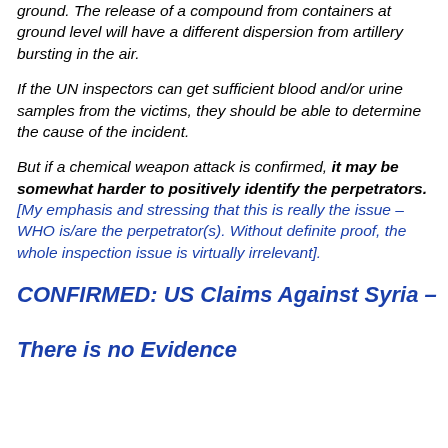ground. The release of a compound from containers at ground level will have a different dispersion from artillery bursting in the air.
If the UN inspectors can get sufficient blood and/or urine samples from the victims, they should be able to determine the cause of the incident.
But if a chemical weapon attack is confirmed, it may be somewhat harder to positively identify the perpetrators. [My emphasis and stressing that this is really the issue – WHO is/are the perpetrator(s). Without definite proof, the whole inspection issue is virtually irrelevant].
CONFIRMED: US Claims Against Syria – There is no Evidence